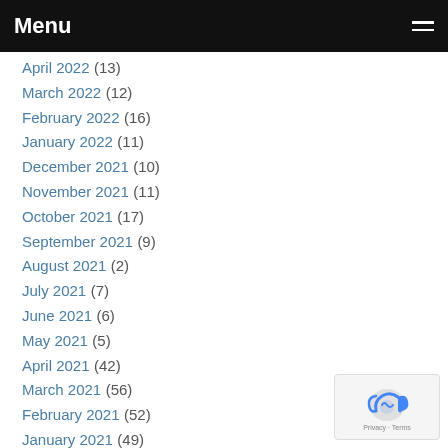Menu
April 2022 (13)
March 2022 (12)
February 2022 (16)
January 2022 (11)
December 2021 (10)
November 2021 (11)
October 2021 (17)
September 2021 (9)
August 2021 (2)
July 2021 (7)
June 2021 (6)
May 2021 (5)
April 2021 (42)
March 2021 (56)
February 2021 (52)
January 2021 (49)
December 2020 (55)
November 2020 (53)